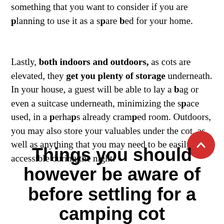something that you want to consider if you are planning to use it as a spare bed for your home.
Lastly, both indoors and outdoors, as cots are elevated, they get you plenty of storage underneath. In your house, a guest will be able to lay a bag or even a suitcase underneath, minimizing the space used, in a perhaps already cramped room. Outdoors, you may also store your valuables under the cot, as well as anything that you may need to be easily accessible during the night.
Things you should however be aware of before settling for a camping cot